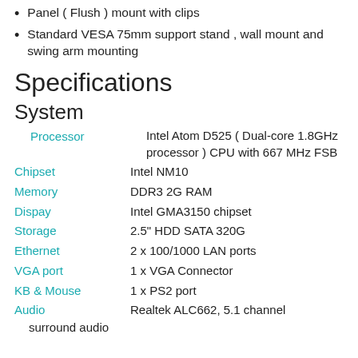Panel ( Flush ) mount with clips
Standard VESA 75mm support stand , wall mount and swing arm mounting
Specifications
System
| Label | Value |
| --- | --- |
| Processor | Intel Atom D525 ( Dual-core 1.8GHz processor ) CPU with 667 MHz FSB |
| Chipset | Intel NM10 |
| Memory | DDR3 2G RAM |
| Dispay | Intel GMA3150 chipset |
| Storage | 2.5" HDD SATA 320G |
| Ethernet | 2 x 100/1000 LAN ports |
| VGA port | 1 x VGA Connector |
| KB & Mouse | 1 x PS2 port |
| Audio | Realtek ALC662, 5.1 channel surround audio |